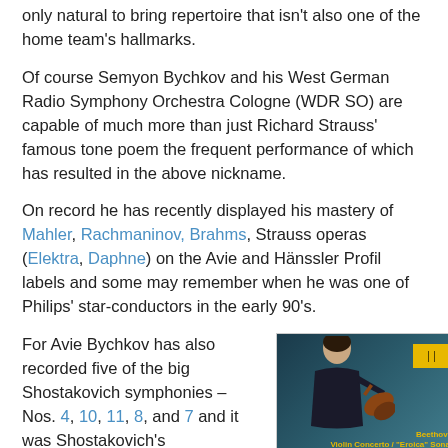only natural to bring repertoire that isn't also one of the home team's hallmarks.
Of course Semyon Bychkov and his West German Radio Symphony Orchestra Cologne (WDR SO) are capable of much more than just Richard Strauss' famous tone poem the frequent performance of which has resulted in the above nickname.
On record he has recently displayed his mastery of Mahler, Rachmaninov, Brahms, Strauss operas (Elektra, Daphne) on the Avie and Hänssler Profil labels and some may remember when he was one of Philips' star-conductors in the early 90's.
For Avie Bychkov has also recorded five of the big Shostakovich symphonies – Nos. 4, 10, 11, 8, and 7 and it was Shostakovich's
[Figure (photo): Album cover of a Beethoven recording on Deutsche Grammophon label featuring violinist Vadim Repin. Dark teal/blue background with a photo of the violinist holding a violin. Yellow DG logo in top right. Gold text showing 'Beethoven', 'Violin Concerto / Eroica Sonata', 'Vadim Repin', and smaller text below.]